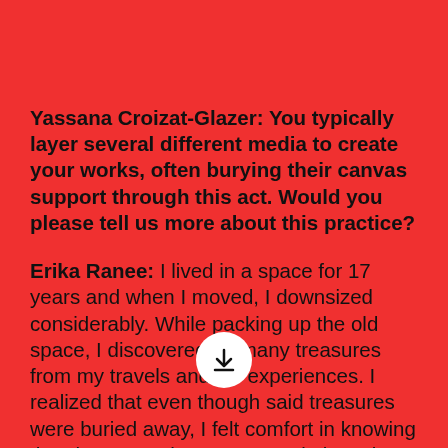Yassana Croizat-Glazer: You typically layer several different media to create your works, often burying their canvas support through this act. Would you please tell us more about this practice?
Erika Ranee: I lived in a space for 17 years and when I moved, I downsized considerably. While packing up the old space, I discovered so many treasures from my travels and life experiences. I realized that even though said treasures were buried away, I felt comfort in knowing that they were there. In my paintings, it follows the same principle; some of the media and ephemera embedded in the surfaces of the paintings are often obscured from view—sometimes ripped away and scraped down but there's residual information from what's been subtracted. The